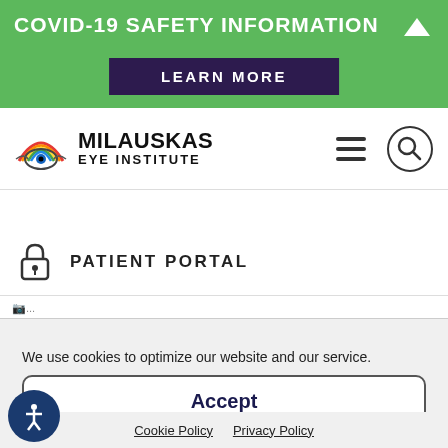COVID-19 SAFETY INFORMATION
LEARN MORE
[Figure (logo): Milauskas Eye Institute logo with colorful eye graphic]
PATIENT PORTAL
We use cookies to optimize our website and our service.
Accept
Cookie Policy   Privacy Policy